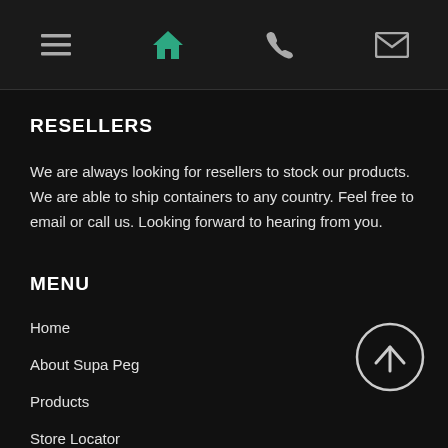Navigation bar with menu, home, phone, and mail icons
RESELLERS
We are always looking for resellers to stock our products. We are able to ship containers to any country. Feel free to email or call us. Looking forward to hearing from you.
MENU
Home
About Supa Peg
Products
Store Locator